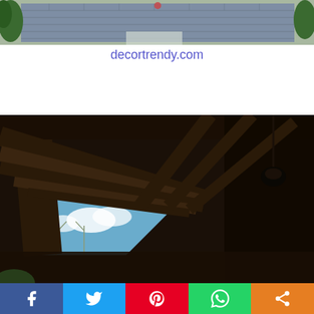[Figure (photo): Aerial or overhead view of a brick patio with greenery and plants visible]
decortrendy.com
[Figure (photo): Looking up at the underside of a dark wooden pergola or gazebo roof structure with diagonal beams, open sky with clouds and bare trees visible below]
[Figure (infographic): Social sharing bar with Facebook, Twitter, Pinterest, WhatsApp, and Share icons]